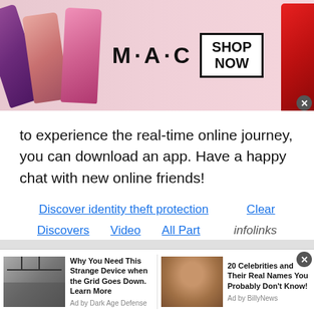[Figure (screenshot): MAC cosmetics advertisement banner with lipsticks on left side, MAC logo in center, SHOP NOW box on right, and red lipstick on far right]
to experience the real-time online journey, you can download an app. Have a happy chat with new online friends!
Discover identity theft protection   Clear
Discovers   Video   All Part   infolinks
Other Malawian Chatrooms
[Figure (screenshot): Bottom advertisement bar with two ads: 'Why You Need This Strange Device when the Grid Goes Down. Learn More' by Dark Age Defense, and '20 Celebrities and Their Real Names You Probably Don't Know!' by Billy News]